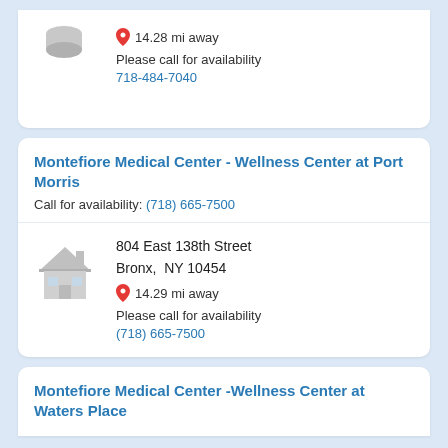14.28 mi away
Please call for availability
718-484-7040
Montefiore Medical Center - Wellness Center at Port Morris
Call for availability: (718) 665-7500
804 East 138th Street Bronx,  NY 10454
14.29 mi away
Please call for availability
(718) 665-7500
Montefiore Medical Center -Wellness Center at Waters Place